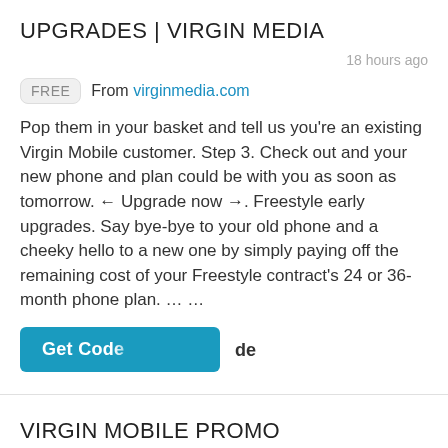UPGRADES | VIRGIN MEDIA
18 hours ago
FREE  From virginmedia.com
Pop them in your basket and tell us you're an existing Virgin Mobile customer. Step 3. Check out and your new phone and plan could be with you as soon as tomorrow. ← Upgrade now →. Freestyle early upgrades. Say bye-bye to your old phone and a cheeky hello to a new one by simply paying off the remaining cost of your Freestyle contract's 24 or 36-month phone plan. … …
Get Code  de
VIRGIN MOBILE PROMO CODES & COUPONS AUGUST 2022